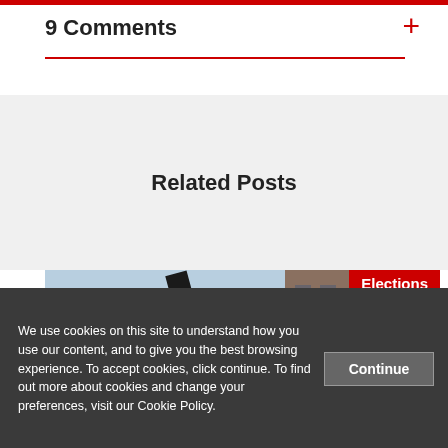9 Comments
Related Posts
[Figure (photo): Photograph of the LSE (London School of Economics) red sign with building facade in background, blue sky visible. A red 'Elections' badge overlays the top-right corner of the image.]
We use cookies on this site to understand how you use our content, and to give you the best browsing experience. To accept cookies, click continue. To find out more about cookies and change your preferences, visit our Cookie Policy.